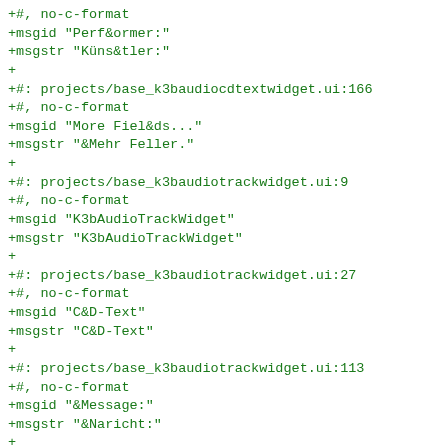+#, no-c-format
+msgid "Perf&ormer:"
+msgstr "Küns&tler:"
+
+#: projects/base_k3baudiocdtextwidget.ui:166
+#, no-c-format
+msgid "More Fiel&ds..."
+msgstr "&Mehr Feller."
+
+#: projects/base_k3baudiotrackwidget.ui:9
+#, no-c-format
+msgid "K3bAudioTrackWidget"
+msgstr "K3bAudioTrackWidget"
+
+#: projects/base_k3baudiotrackwidget.ui:27
+#, no-c-format
+msgid "C&D-Text"
+msgstr "C&D-Text"
+
+#: projects/base_k3baudiotrackwidget.ui:113
+#, no-c-format
+msgid "&Message:"
+msgstr "&Naricht:"
+
+#: projects/base_k3baudiotrackwidget.ui:140
+#, no-c-format
+msgid "&ISRC:"
+msgstr "&ISRC:"
+
+#: projects/base_k3baudiotrackwidget.ui:204